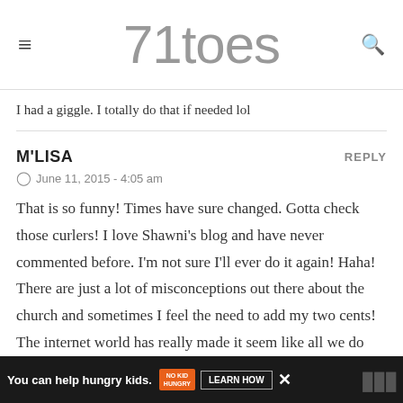71toes
I had a giggle. I totally do that if needed lol
M'LISA
June 11, 2015 - 4:05 am
That is so funny! Times have sure changed. Gotta check those curlers! I love Shawni’s blog and have never commented before. I’m not sure I’ll ever do it again! Haha! There are just a lot of misconceptions out there about the church and sometimes I feel the need to add my two cents! The internet world has really made it seem like all we do every week is measure hems and necklines, but geesh life is
[Figure (screenshot): Advertisement banner: 'You can help hungry kids.' with No Kid Hungry logo and LEARN HOW button on dark background]